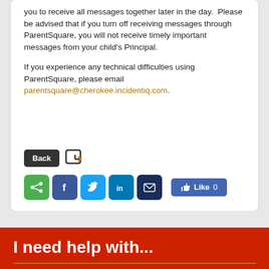you to receive all messages together later in the day.  Please be advised that if you turn off receiving messages through ParentSquare, you will not receive timely important messages from your child's Principal.
If you experience any technical difficulties using ParentSquare, please email parentsquare@cherokee.incidentiq.com.
[Figure (screenshot): Back button, forward/share icon, and social media sharing buttons: share (green), Facebook (blue), Twitter (light blue), LinkedIn (dark blue), email (dark navy), and a Facebook Like button showing 0 likes.]
I need help with...
Print Calendar
Accelerated Reader List